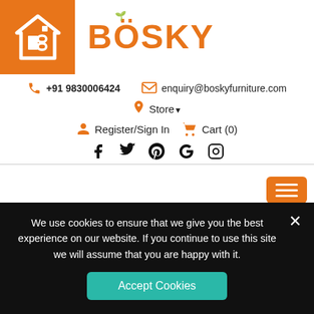[Figure (logo): Bosky Furniture logo: orange square with white house/B icon, followed by BÖSKY text in orange with green leaf accent]
+91 9830006424   enquiry@boskyfurniture.com
Store▼
Register/Sign In   Cart (0)
[Figure (other): Social media icons: Facebook, Twitter, Pinterest, Google, Instagram]
[Figure (other): Orange hamburger menu button with three horizontal lines]
We use cookies to ensure that we give you the best experience on our website. If you continue to use this site we will assume that you are happy with it.
Accept Cookies